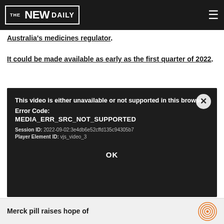THE NEW DAILY
Australia's medicines regulator.
It could be made available as early as the first quarter of 2022.
[Figure (screenshot): Video player error overlay showing: 'This video is either unavailable or not supported in this browser', Error Code: MEDIA_ERR_SRC_NOT_SUPPORTED, Session ID: 2022-09-02:3e4db6e52cffd135c94305b7, Player Element ID: vjs_video_3, with OK button and close X button]
Merck pill raises hope of